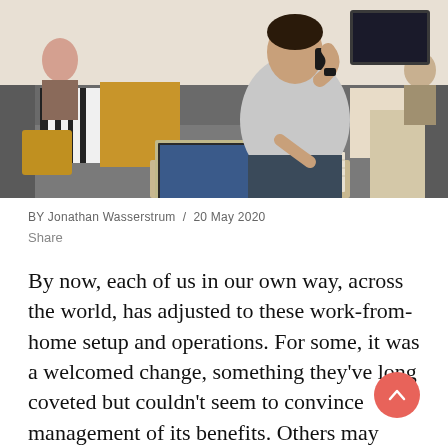[Figure (photo): A man sitting on a grey couch with colorful pillows, talking on a phone while writing in a notebook, with a laptop open on a coffee table in front of him. Others visible in the background in a home setting.]
BY Jonathan Wasserstrum  /  20 May 2020
Share
By now, each of us in our own way, across the world, has adjusted to these work-from-home setup and operations. For some, it was a welcomed change, something they've long coveted but couldn't seem to convince management of its benefits. Others may